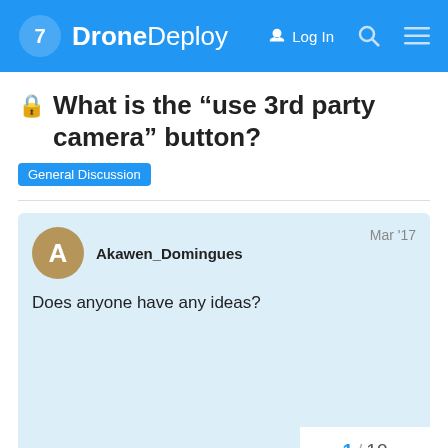DroneDeploy — Log In
🔒 What is the "use 3rd party camera" button?
General Discussion
Akawen_Domingues   Mar '17
Does anyone have any ideas?
1 / 10